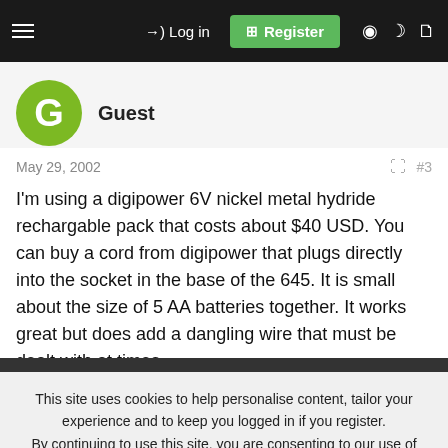Log in | Register
Guest
May 29, 2002  #3
I'm using a digipower 6V nickel metal hydride rechargable pack that costs about $40 USD. You can buy a cord from digipower that plugs directly into the socket in the base of the 645. It is small about the size of 5 AA batteries together. It works great but does add a dangling wire that must be dealt with at times.
This site uses cookies to help personalise content, tailor your experience and to keep you logged in if you register.
By continuing to use this site, you are consenting to our use of cookies.
✓ Accept   Learn more...